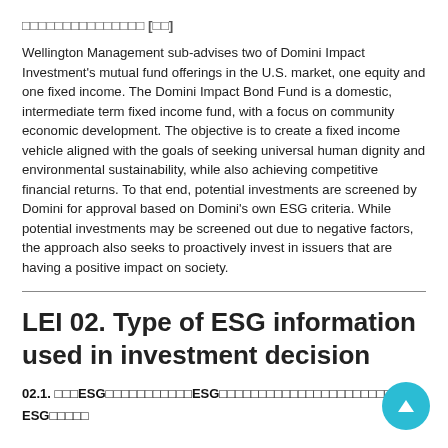□□□□□□□□□□□□□□□ [□□]
Wellington Management sub-advises two of Domini Impact Investment's mutual fund offerings in the U.S. market, one equity and one fixed income. The Domini Impact Bond Fund is a domestic, intermediate term fixed income fund, with a focus on community economic development. The objective is to create a fixed income vehicle aligned with the goals of seeking universal human dignity and environmental sustainability, while also achieving competitive financial returns. To that end, potential investments are screened by Domini for approval based on Domini's own ESG criteria. While potential investments may be screened out due to negative factors, the approach also seeks to proactively invest in issuers that are having a positive impact on society.
LEI 02. Type of ESG information used in investment decision
02.1. □□□ESG□□□□□□□□□□□ESG□□□□□□□□□□□□□□□□□□□□□□
ESG□□□□□